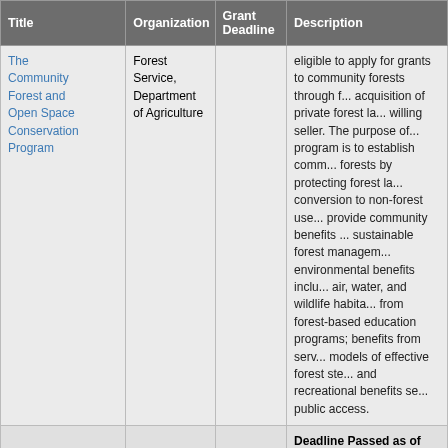| Title | Organization | Grant Deadline | Description |
| --- | --- | --- | --- |
| The Community Forest and Open Space Conservation Program | Forest Service, Department of Agriculture |  | eligible to apply for grants to community forests through f... acquisition of private forest l... willing seller. The purpose of... program is to establish comm... forests by protecting forest la... conversion to non-forest use... provide community benefits ... sustainable forest managem... environmental benefits inclu... air, water, and wildlife habita... from forest-based education programs; benefits from serv... models of effective forest ste... and recreational benefits se... public access. |
|  |  |  | Deadline Passed as of 3/13... Deadline for 2020 unknow... document invites proposals t... to be initiated by the Northw... Science Center (NW CSC) i... Year (FY) 2019. Project re... |